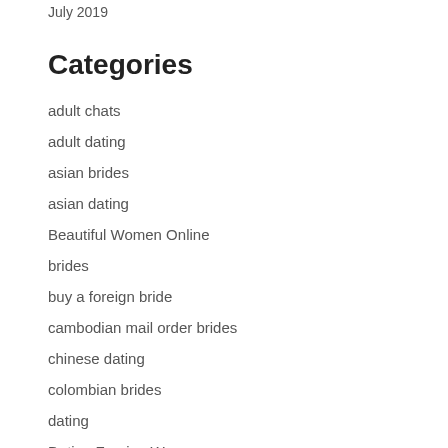July 2019
Categories
adult chats
adult dating
asian brides
asian dating
Beautiful Women Online
brides
buy a foreign bride
cambodian mail order brides
chinese dating
colombian brides
dating
Dating Foreign Woman